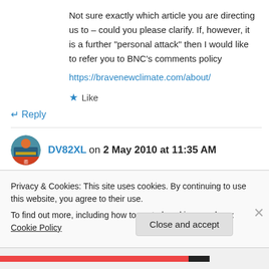Not sure exactly which article you are directing us to – could you please clarify. If, however, it is a further “personal attack” then I would like to refer you to BNC’s comments policy
https://bravenewclimate.com/about/
★ Like
↵ Reply
DV82XL on 2 May 2010 at 11:35 AM
Privacy & Cookies: This site uses cookies. By continuing to use this website, you agree to their use.
To find out more, including how to control cookies, see here: Cookie Policy
Close and accept